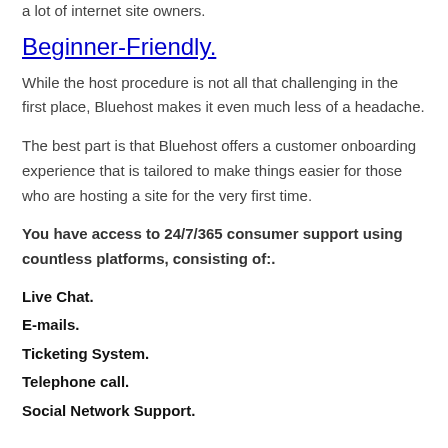a lot of internet site owners.
Beginner-Friendly.
While the host procedure is not all that challenging in the first place, Bluehost makes it even much less of a headache.
The best part is that Bluehost offers a customer onboarding experience that is tailored to make things easier for those who are hosting a site for the very first time.
You have access to 24/7/365 consumer support using countless platforms, consisting of:.
Live Chat.
E-mails.
Ticketing System.
Telephone call.
Social Network Support.